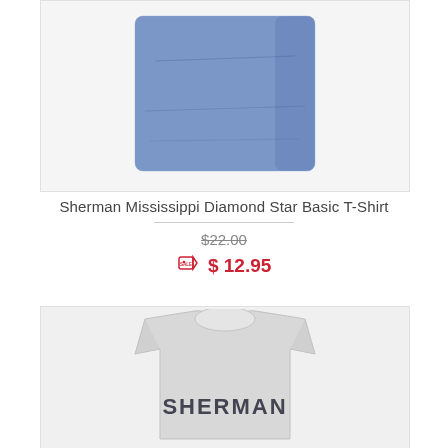[Figure (photo): Blue heather folded t-shirt product photo on light gray background]
Sherman Mississippi Diamond Star Basic T-Shirt
$22.00 (strikethrough original price)
$ 12.95 (sale price with sale tag icon)
[Figure (photo): Light gray t-shirt with SHERMAN text on front, shown on white/light background, cropped view showing collar and chest area]